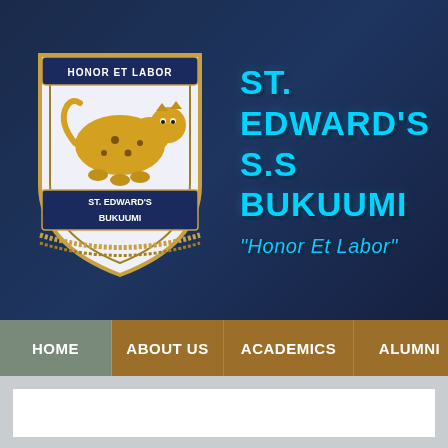[Figure (logo): St. Edward's Bukuumi school shield/crest logo with a leopard, banner reading 'HONOR ET LABOR', and 'ST. EDWARD'S BUKUUMI' text]
ST. EDWARD'S S.S BUKUUMI
"Honor Et Labor"
HOME | ABOUT US | ACADEMICS | ALUMNI | S...